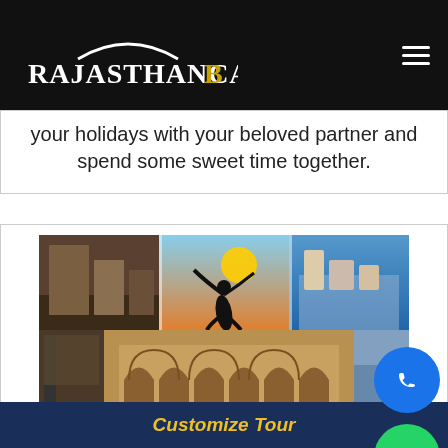RajasthanCaB
your holidays with your beloved partner and spend some sweet time together.
[Figure (photo): Rajasthan travel collage: dancer silhouette against sunset, desert camel, lakeside city, ornate palace architecture]
Rajasthan Family Tour Pack
Customize Tour